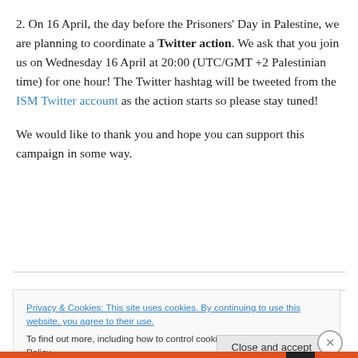2. On 16 April, the day before the Prisoners' Day in Palestine, we are planning to coordinate a Twitter action. We ask that you join us on Wednesday 16 April at 20:00 (UTC/GMT +2 Palestinian time) for one hour! The Twitter hashtag will be tweeted from the ISM Twitter account as the action starts so please stay tuned!
We would like to thank you and hope you can support this campaign in some way.
Privacy & Cookies: This site uses cookies. By continuing to use this website, you agree to their use.
To find out more, including how to control cookies, see here: Cookie Policy